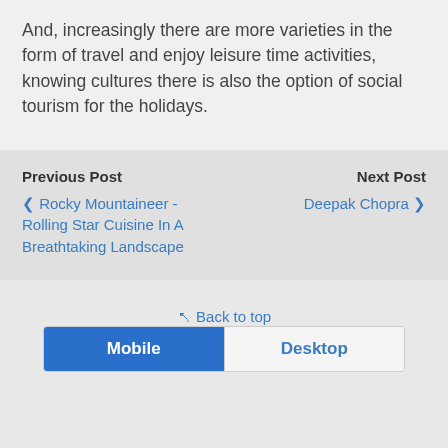And, increasingly there are more varieties in the form of travel and enjoy leisure time activities, knowing cultures there is also the option of social tourism for the holidays.
Previous Post
‹ Rocky Mountaineer - Rolling Star Cuisine In A Breathtaking Landscape
Next Post
Deepak Chopra ›
⇪ Back to top
Mobile | Desktop